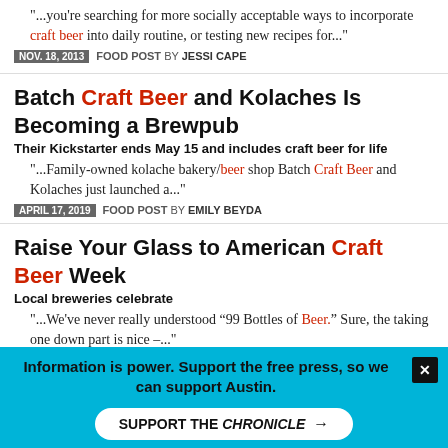"...you're searching for more socially acceptable ways to incorporate craft beer into daily routine, or testing new recipes for..."
NOV. 18, 2013 FOOD POST BY JESSI CAPE
Batch Craft Beer and Kolaches Is Becoming a Brewpub
Their Kickstarter ends May 15 and includes craft beer for life
"...Family-owned kolache bakery/beer shop Batch Craft Beer and Kolaches just launched a..."
APRIL 17, 2019 FOOD POST BY EMILY BEYDA
Raise Your Glass to American Craft Beer Week
Local breweries celebrate
"...We've never really understood “99 Bottles of Beer.” Sure, the taking one down part is nice –..."
MAY 11, 2015 FOOD POST BY BRANDON WATSON
Austin FC Scores. Austin Craft Beer Assists
Information is power. Support the free press, so we can support Austin.
SUPPORT THE CHRONICLE →